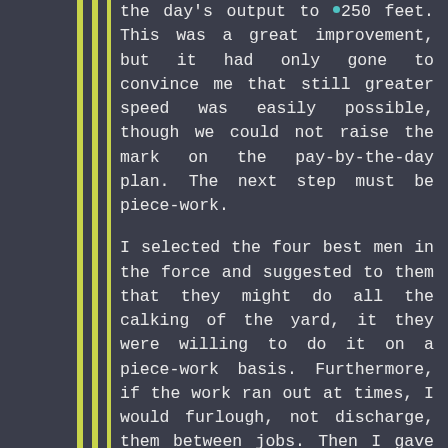the day's output to •250 feet. This was a great improvement, but it had only gone to convince me that still greater speed was easily possible, though we could not raise the mark on the pay-by-the-day plan. The next step must be piece-work.

I selected the four best men in the force and suggested to them that they might do all the calking of the yard, it they were willing to do it on a piece-work basis. Furthermore, if the work ran out at times, I would furlough, not discharge, them between jobs. Then I gave them the piece-work rate, which was based on 250 feet a day. If they continued to work as they had, they would draw just the wages they had been receiving. If they could increase their output, they would find the benefit in their pay envelopes.